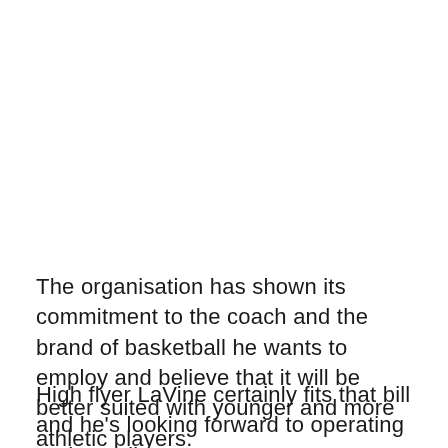The organisation has shown its commitment to the coach and the brand of basketball he wants to employ and believe that it will be better suited with younger and more athletic players.
High flyer LaVine certainly fits that bill and he's looking forward to operating under Hoiberg's